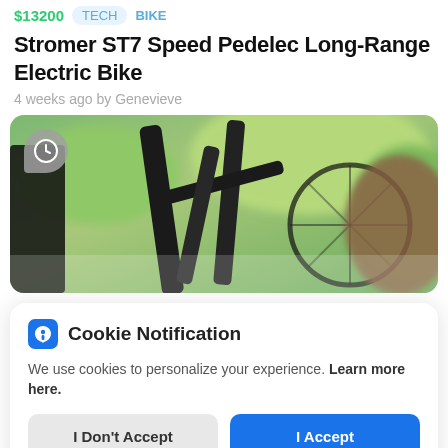$13200  TECH  BIKE
Stromer ST7 Speed Pedelec Long-Range Electric Bike
4 weeks ago by Genevieve
[Figure (photo): Close-up photo of a dark bicycle frame with wheels, spokes, and green blurred background. A clock/timer badge icon is overlaid in the top left corner.]
Cookie Notification
We use cookies to personalize your experience. Learn more here.
I Don't Accept
I Accept